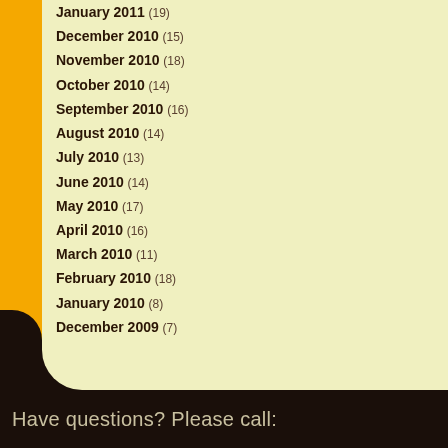January 2011 (19)
December 2010 (15)
November 2010 (18)
October 2010 (14)
September 2010 (16)
August 2010 (14)
July 2010 (13)
June 2010 (14)
May 2010 (17)
April 2010 (16)
March 2010 (11)
February 2010 (18)
January 2010 (8)
December 2009 (7)
Have questions? Please call: